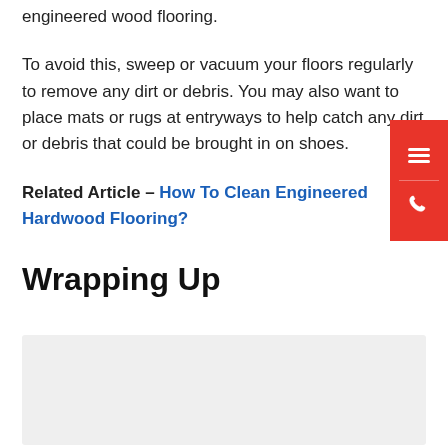engineered wood flooring.
To avoid this, sweep or vacuum your floors regularly to remove any dirt or debris. You may also want to place mats or rugs at entryways to help catch any dirt or debris that could be brought in on shoes.
Related Article – How To Clean Engineered Hardwood Flooring?
Wrapping Up
[Figure (photo): Image placeholder / photo related to wrapping up engineered wood flooring content]